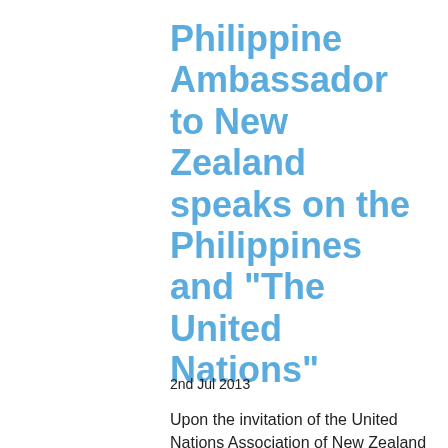Philippine Ambassador to New Zealand speaks on the Philippines and "The United Nations"
2nd Jul 2013
Upon the invitation of the United Nations Association of New Zealand (UNANZ), Philippine